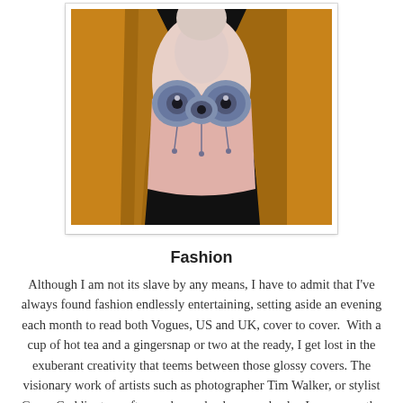[Figure (photo): A fashion photograph showing a mannequin or figure wearing an ornate pink corset/bodice with blue/grey decorative embellishments and an amber/golden draped fabric on either side, against a dark background.]
Fashion
Although I am not its slave by any means, I have to admit that I've always found fashion endlessly entertaining, setting aside an evening each month to read both Vogues, US and UK, cover to cover.  With a cup of hot tea and a gingersnap or two at the ready, I get lost in the exuberant creativity that teems between those glossy covers. The visionary work of artists such as photographer Tim Walker, or stylist Grace Coddington, often rocks me back on my heels.  I pore over the tailoring of a Stella McCartney suit, marvel at the boundless imagination stitched into an Alexander McQueen gown and always close the issue completely inspired